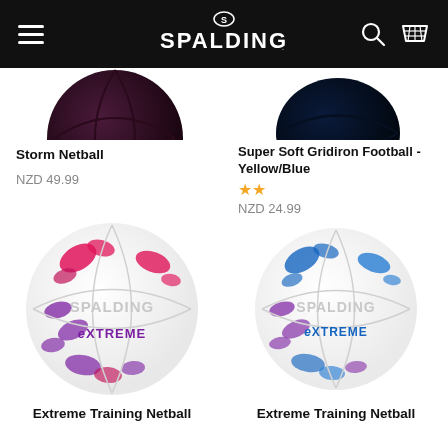Spalding — navigation header with hamburger menu, Spalding logo, search icon, and basket icon
[Figure (photo): Bottom portion of a Spalding netball (dark/purple) — Storm Netball product image cropped at top]
Storm Netball
NZD 49.99
[Figure (photo): Bottom portion of a Spalding gridiron football (dark/navy) — Super Soft Gridiron Football Yellow/Blue product image cropped at top]
Super Soft Gridiron Football - Yellow/Blue
★★
NZD 24.99
[Figure (photo): Spalding Extreme Training Netball with pink and purple paint splash design on white background]
Extreme Training Netball
[Figure (photo): Spalding Extreme Training Netball with blue and purple paint splash design on white background]
Extreme Training Netball